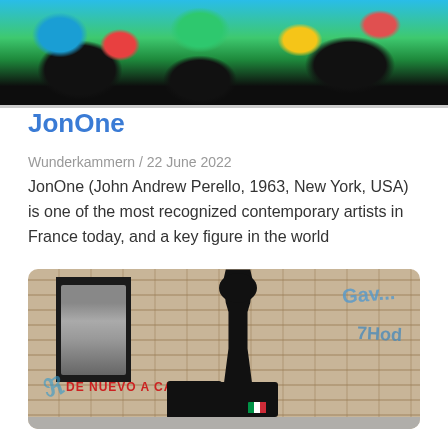[Figure (photo): Colorful abstract painting with blue, green, red, yellow, and black areas — top portion of an artwork.]
JonOne
Wunderkammern / 22 June 2022
JonOne (John Andrew Perello, 1963, New York, USA) is one of the most recognized contemporary artists in France today, and a key figure in the world
[Figure (photo): Street art mural on a brick wall showing a man in a black suit with sunglasses carrying suitcases, flanked by a black-and-white Mona Lisa panel on the left and blue graffiti on the right. Red text reads 'DE NUEVO A CASA'. Italian flag visible on one of the suitcases.]